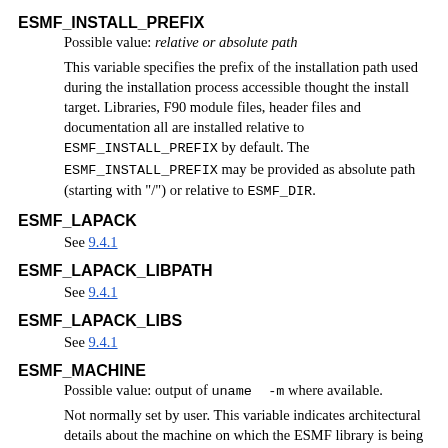ESMF_INSTALL_PREFIX
Possible value: relative or absolute path
This variable specifies the prefix of the installation path used during the installation process accessible thought the install target. Libraries, F90 module files, header files and documentation all are installed relative to ESMF_INSTALL_PREFIX by default. The ESMF_INSTALL_PREFIX may be provided as absolute path (starting with "/") or relative to ESMF_DIR.
ESMF_LAPACK
See 9.4.1
ESMF_LAPACK_LIBPATH
See 9.4.1
ESMF_LAPACK_LIBS
See 9.4.1
ESMF_MACHINE
Possible value: output of uname -m where available.
Not normally set by user. This variable indicates architectural details about the machine on which the ESMF library is being built. The value of this variable will affect